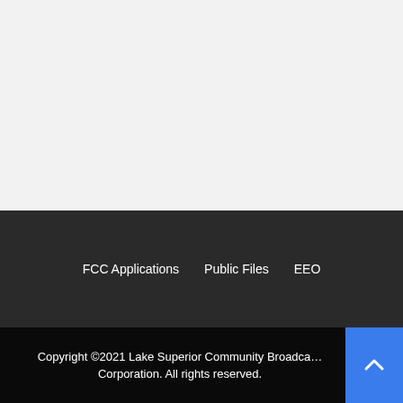FCC Applications   Public Files   EEO
Copyright ©2021 Lake Superior Community Broadcasting Corporation. All rights reserved.